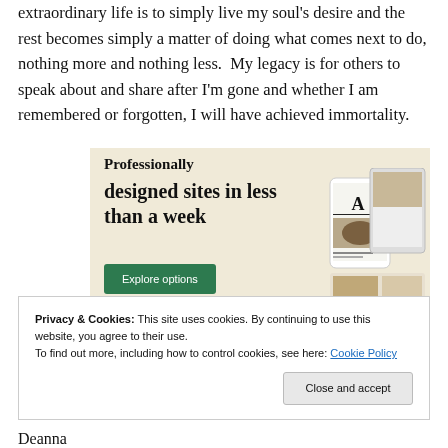extraordinary life is to simply live my soul's desire and the rest becomes simply a matter of doing what comes next to do, nothing more and nothing less.  My legacy is for others to speak about and share after I'm gone and whether I am remembered or forgotten, I will have achieved immortality.
[Figure (screenshot): Advertisement banner with beige background showing text 'Professionally designed sites in less than a week' with a green 'Explore options' button and device mockup screenshots on the right side.]
Privacy & Cookies: This site uses cookies. By continuing to use this website, you agree to their use.
To find out more, including how to control cookies, see here: Cookie Policy
Close and accept
Deanna